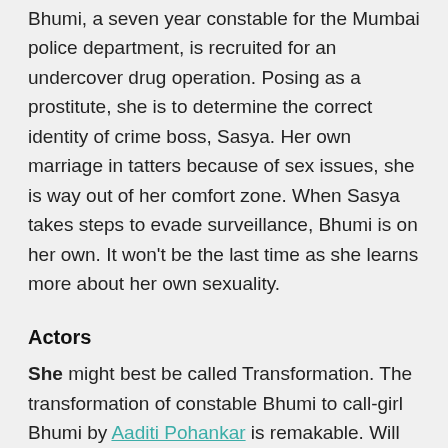Bhumi, a seven year constable for the Mumbai police department, is recruited for an undercover drug operation. Posing as a prostitute, she is to determine the correct identity of crime boss, Sasya. Her own marriage in tatters because of sex issues, she is way out of her comfort zone. When Sasya takes steps to evade surveillance, Bhumi is on her own. It won't be the last time as she learns more about her own sexuality.
Actors
She might best be called Transformation. The transformation of constable Bhumi to call-girl Bhumi by Aaditi Pohankar is remakable. Will she be the next Priyanka Chopra? Vijay Varma plays Sasya, properly, as a drug dealer never to be trusted. He gets into Bhumi's